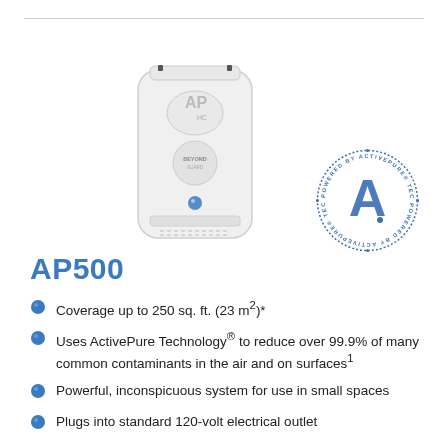[Figure (photo): AP500 air purification device - white rectangular unit with rounded corners, AP logo on top, BEYOND label, blue indicator light; alongside a circular blue 'Powered by ActivePure Technology' stamp/seal]
AP500
Coverage up to 250 sq. ft. (23 m²)*
Uses ActivePure Technology® to reduce over 99.9% of many common contaminants in the air and on surfaces¹
Powerful, inconspicuous system for use in small spaces
Plugs into standard 120-volt electrical outlet